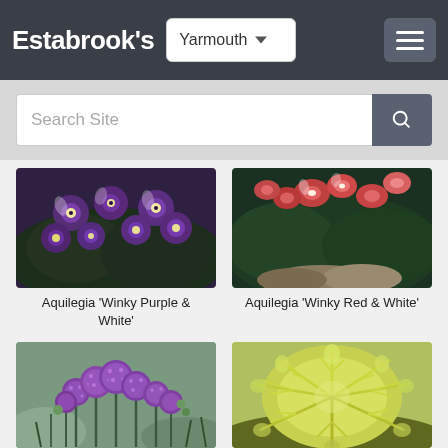Estabrook's — Yarmouth
Search Site
[Figure (photo): Aquilegia 'Winky Purple & White' — close-up of purple and white columbine flowers with dark foliage]
Aquilegia 'Winky Purple & White'
[Figure (photo): Aquilegia 'Winky Red & White' — red and white columbine flowers with green foliage and rocks]
Aquilegia 'Winky Red & White'
[Figure (photo): Purple allium / armeria flowers with round purple globe blooms on green stems]
[Figure (photo): Yellow-green feathery plant / shrub with fine textured foliage]